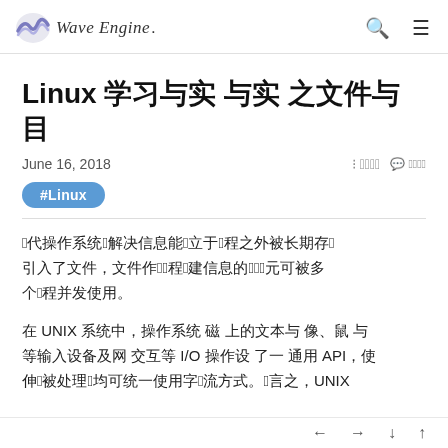Wave Engine
Linux 学习与实践之文件与目录
June 16, 2018
#Linux
现代操作系统为解决信息能独立于进程之外被长期存储引入了文件，文件作为进程建信息的基础元素可被多个进程并发使用。
在 UNIX 系统中，操作系统 磁 上的文本与 像、鼠 与等输入设备及网 交互等 I/O 操作设 了一 通用 API，使伸们被处理们均可统一使用字们流方式。们言之，UNIX